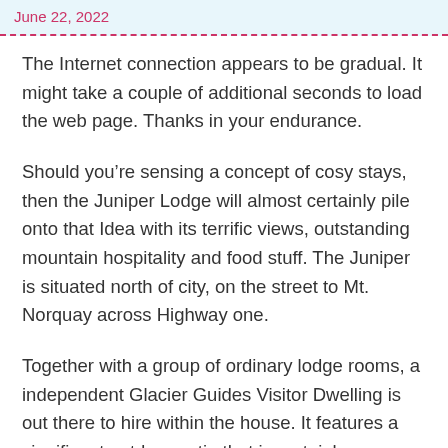June 22, 2022
The Internet connection appears to be gradual. It might take a couple of additional seconds to load the web page. Thanks in your endurance.
Should you’re sensing a concept of cosy stays, then the Juniper Lodge will almost certainly pile onto that Idea with its terrific views, outstanding mountain hospitality and food stuff. The Juniper is situated north of city, on the street to Mt. Norquay across Highway one.
Together with a group of ordinary lodge rooms, a independent Glacier Guides Visitor Dwelling is out there to hire within the house. It features a significant outdoor patio that is certainly